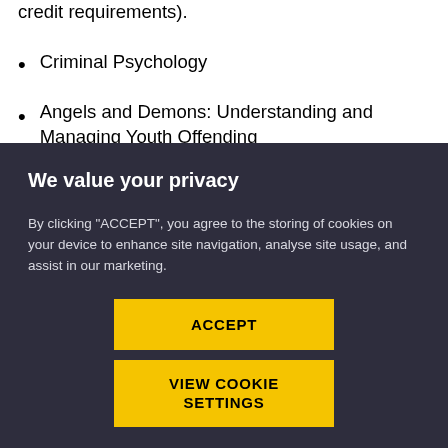credit requirements).
Criminal Psychology
Angels and Demons: Understanding and Managing Youth Offending
[Figure (screenshot): Cookie consent modal with dark background (#2e2d3d). Contains title 'We value your privacy', explanatory text about cookies, and two yellow buttons: 'ACCEPT' and 'VIEW COOKIE SETTINGS'.]